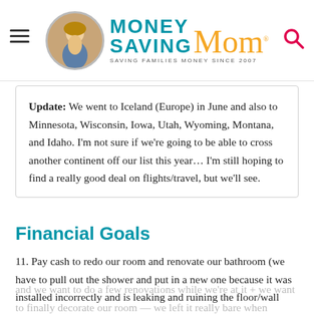Money Saving Mom® — SAVING FAMILIES MONEY SINCE 2007
Update: We went to Iceland (Europe) in June and also to Minnesota, Wisconsin, Iowa, Utah, Wyoming, Montana, and Idaho. I'm not sure if we're going to be able to cross another continent off our list this year… I'm still hoping to find a really good deal on flights/travel, but we'll see.
Financial Goals
11. Pay cash to redo our room and renovate our bathroom (we have to pull out the shower and put in a new one because it was installed incorrectly and is leaking and ruining the floor/wall and we want to do a few renovations while we're at it + we want to finally decorate our room — we left it really bare when